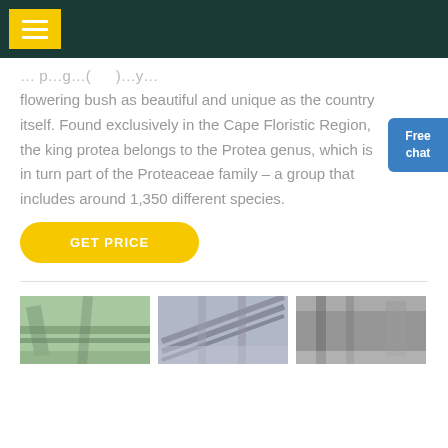Navigation header with menu button
flowering bush as beautiful and unique as the country itself. Found exclusively in the Cape Floristic Region, the king protea belongs to the Protea genus, which is in turn part of the Proteaceae family – a group that includes around 1,350 different species.
[Figure (illustration): Free chat button widget with person graphic on the right side]
GET PRICE
[Figure (photo): Three industrial photos showing conveyor belts and mining/quarry equipment]
... p... g... (...)...y...